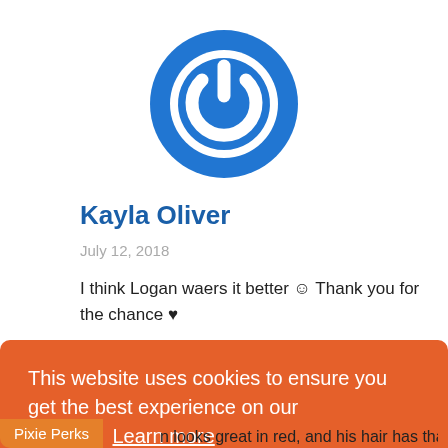[Figure (logo): Blue circular power/lock icon logo]
Kayla Oliver
July 12, 2018
I think Logan waers it better ☺ Thank you for the chance ♥
[Figure (illustration): Partial second user avatar (blue circular icon, partially visible)]
This website uses cookies to ensure you get the best experience on our website.  Learn more
Got it!
Pixie Perks
n looks great in red, and his hair has that